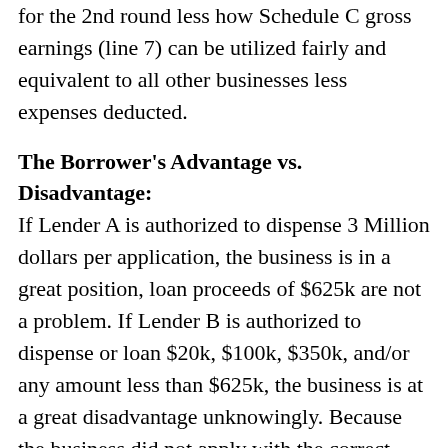for the 2nd round less how Schedule C gross earnings (line 7) can be utilized fairly and equivalent to all other businesses less expenses deducted.
The Borrower's Advantage vs. Disadvantage:
If Lender A is authorized to dispense 3 Million dollars per application, the business is in a great position, loan proceeds of $625k are not a problem. If Lender B is authorized to dispense or loan $20k, $100k, $350k, and/or any amount less than $625k, the business is at a great disadvantage unknowingly. Because the business did not apply with the correct PPP Lender that could provide the full loan amount qualified; instead, that lender or platform will qualify the business for the maximum dollar amount they are authorized to provide per application, essentially leaving money on the table